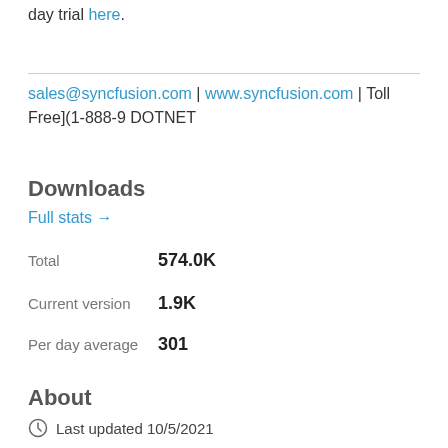day trial here.
sales@syncfusion.com | www.syncfusion.com | Toll Free](1-888-9 DOTNET
Downloads
Full stats →
Total   574.0K
Current version   1.9K
Per day average   301
About
Last updated 10/5/2021
Project website